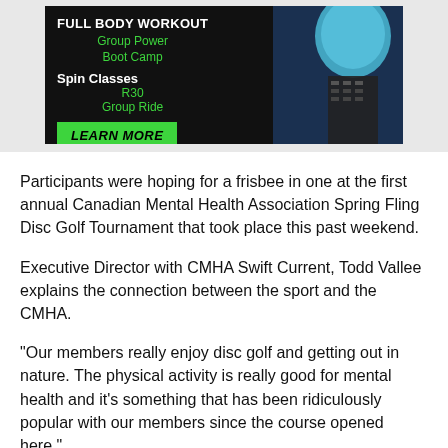[Figure (illustration): Advertisement banner with dark background showing fitness classes: Full Body Workout, Group Power Boot Camp, Spin Classes, R30, Group Ride, with a green LEARN MORE button and a figure wearing a blue helmet on the right side.]
Participants were hoping for a frisbee in one at the first annual Canadian Mental Health Association Spring Fling Disc Golf Tournament that took place this past weekend.
Executive Director with CMHA Swift Current, Todd Vallee explains the connection between the sport and the CMHA.
"Our members really enjoy disc golf and getting out in nature. The physical activity is really good for mental health and it's something that has been ridiculously popular with our members since the course opened here."
Reflecting on how the idea for the tournament came to be, Vallee says they were looking for a new fundraising